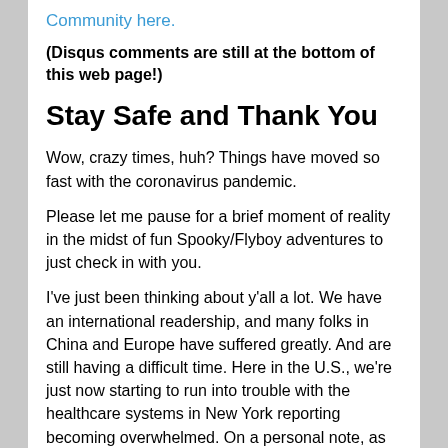Community here.
(Disqus comments are still at the bottom of this web page!)
Stay Safe and Thank You
Wow, crazy times, huh? Things have moved so fast with the coronavirus pandemic.
Please let me pause for a brief moment of reality in the midst of fun Spooky/Flyboy adventures to just check in with you.
I've just been thinking about y'all a lot. We have an international readership, and many folks in China and Europe have suffered greatly. And are still having a difficult time. Here in the U.S., we're just now starting to run into trouble with the healthcare systems in New York reporting becoming overwhelmed. On a personal note, as many of you know, my fiancé